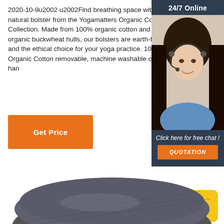2020-10-9u2002·u2002Find breathing space with our natural bolster from the Yogamatters Organic Cotton Collection. Made from 100% organic cotton and filled with organic buckwheat hulls, our bolsters are earth-friendly and the ethical choice for your yoga practice. 100% Organic Cotton removable, machine washable cov carrying han
[Figure (photo): Customer service representative woman wearing headset smiling, overlaid on a dark blue/navy chat widget panel with '24/7 Online' header, 'Click here for free chat!' text, and an orange QUOTATION button]
Get Price
Top
[Figure (photo): Gray/dark yoga mat partially unrolled, showing textured surface, viewed from above at an angle]